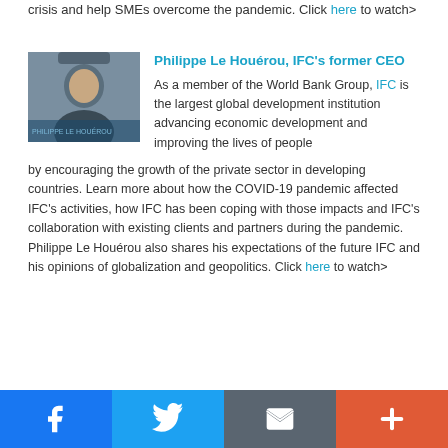crisis and help SMEs overcome the pandemic. Click here to watch>
Philippe Le Houérou, IFC's former CEO
[Figure (photo): Photo of Philippe Le Houérou]
As a member of the World Bank Group, IFC is the largest global development institution advancing economic development and improving the lives of people by encouraging the growth of the private sector in developing countries. Learn more about how the COVID-19 pandemic affected IFC's activities, how IFC has been coping with those impacts and IFC's collaboration with existing clients and partners during the pandemic. Philippe Le Houérou also shares his expectations of the future IFC and his opinions of globalization and geopolitics. Click here to watch>
Facebook | Twitter | Email | Plus